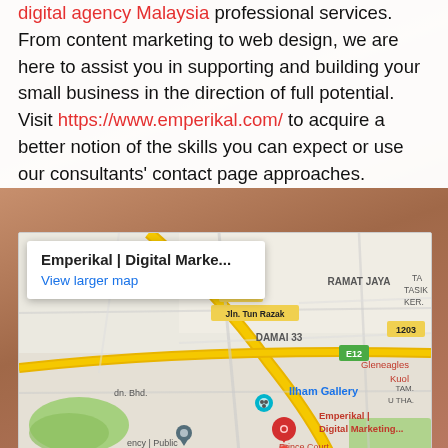digital agency Malaysia professional services. From content marketing to web design, we are here to assist you in supporting and building your small business in the direction of full potential. Visit https://www.emperikal.com/ to acquire a better notion of the skills you can expect or use our consultants' contact page approaches.
[Figure (map): Google Maps embed showing Emperikal | Digital Marketing location in Kuala Lumpur, Malaysia. Map shows roads including Jln. Tun Razak (1202B), E12, 1203, areas DAMAI 33, RAMAT JAYA, TASIK KERA, Gleneagles Kuala, Ilham Gallery, with red pin for Emperikal | Digital Marketing, teal pin for Ilham Gallery, dark pin for another location, and partial text for Prince Court and Public. Map popup shows: Emperikal | Digital Marke... / View larger map.]